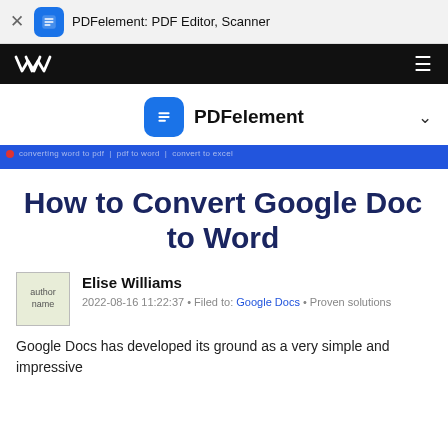PDFelement: PDF Editor, Scanner
[Figure (screenshot): Black navigation bar with Wondershare logo on left and hamburger menu icon on right]
[Figure (screenshot): PDFelement product row with blue icon, product name, and chevron dropdown]
[Figure (screenshot): Blue banner with red dot and navigation links]
How to Convert Google Doc to Word
Elise Williams
2022-08-16 11:22:37 • Filed to: Google Docs • Proven solutions
Google Docs has developed its ground as a very simple and impressive